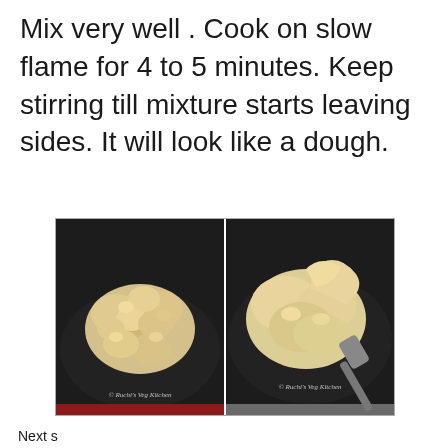Mix very well . Cook on slow flame for 4 to 5 minutes. Keep stirring till mixture starts leaving sides. It will look like a dough.
[Figure (photo): Two side-by-side photos of a crumbly/dough-like mixture in a dark non-stick pan. Left photo shows loose crumbly mixture, right photo shows dough being lifted with a spatula. Both photos have watermark 'Ruchi's Veg Kitchen'.]
Next s